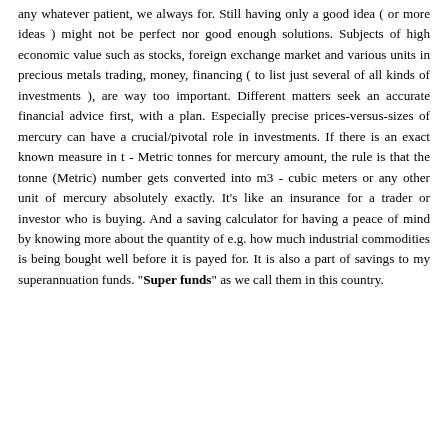any whatever patient, we always for. Still having only a good idea ( or more ideas ) might not be perfect nor good enough solutions. Subjects of high economic value such as stocks, foreign exchange market and various units in precious metals trading, money, financing ( to list just several of all kinds of investments ), are way too important. Different matters seek an accurate financial advice first, with a plan. Especially precise prices-versus-sizes of mercury can have a crucial/pivotal role in investments. If there is an exact known measure in t - Metric tonnes for mercury amount, the rule is that the tonne (Metric) number gets converted into m3 - cubic meters or any other unit of mercury absolutely exactly. It's like an insurance for a trader or investor who is buying. And a saving calculator for having a peace of mind by knowing more about the quantity of e.g. how much industrial commodities is being bought well before it is payed for. It is also a part of savings to my superannuation funds. "Super funds" as we call them in this country.